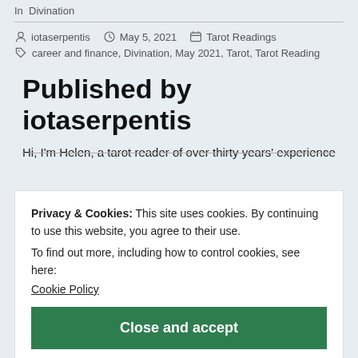In  Divination
iotaserpentis   May 5, 2021   Tarot Readings   career and finance, Divination, May 2021, Tarot, Tarot Reading
Published by iotaserpentis
Hi, I'm Helen, a tarot reader of over thirty years' experience
Privacy & Cookies: This site uses cookies. By continuing to use this website, you agree to their use.
To find out more, including how to control cookies, see here:
Cookie Policy
Close and accept
other readers looking to unlock and connect the wisdom of